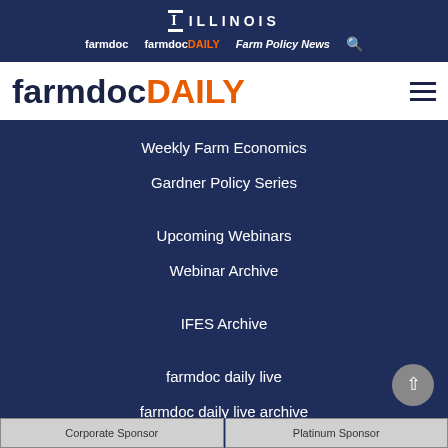ILLINOIS
farmdoc  farmdocDAILY  Farm Policy News
farmdocDAILY
Weekly Farm Economics
Gardner Policy Series
Upcoming Webinars
Webinar Archive
IFES Archive
farmdoc daily live
farmdoc daily live archive
Subscribe
farmdoc Sponsorship
Corporate Sponsor
Platinum Sponsor